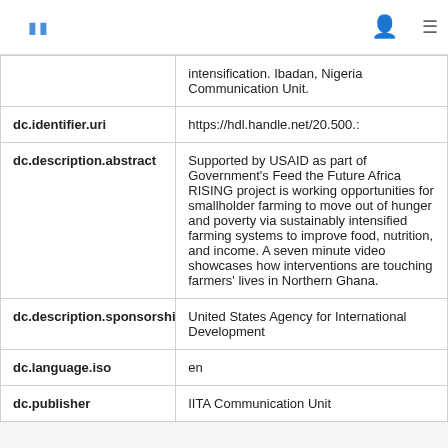| Field | Value |
| --- | --- |
|  | intensification. Ibadan, Nigeria Communication Unit. |
| dc.identifier.uri | https://hdl.handle.net/20.500.: |
| dc.description.abstract | Supported by USAID as part of Government's Feed the Future Africa RISING project is working opportunities for smallholder farming to move out of hunger and poverty via sustainably intensified farming systems to improve food, nutrition, and income. A seven minute video showcases how interventions are touching farmers' lives in Northern Ghana. |
| dc.description.sponsorship | United States Agency for International Development |
| dc.language.iso | en |
| dc.publisher | IITA Communication Unit |